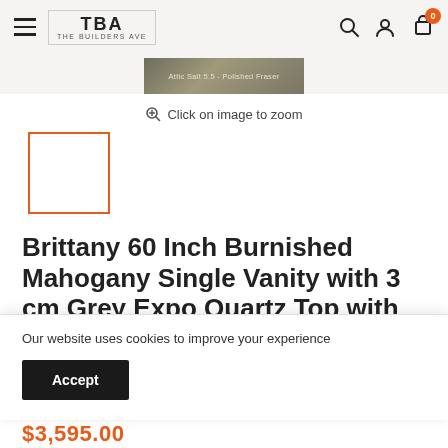TBA THE BUILDERS AVE — navigation header with hamburger menu, logo, search, account, and cart icons
[Figure (photo): Partial product image banner showing a vanity top texture in olive/taupe tones with text 'Attic Salt 5.5 - Polished Fraser']
Click on image to zoom
[Figure (photo): Selected thumbnail image placeholder with orange border outline]
Brittany 60 Inch Burnished Mahogany Single Vanity with 3 cm Grey Expo Quartz Top with Sink
Our website uses cookies to improve your experience
Accept
$3,595.00